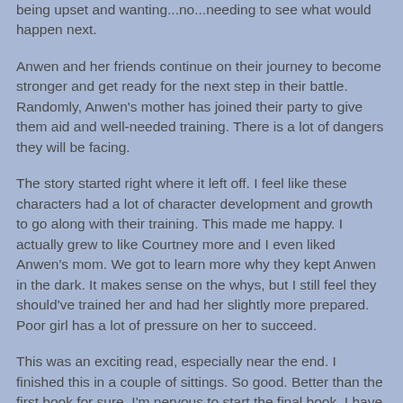being upset and wanting...no...needing to see what would happen next.
Anwen and her friends continue on their journey to become stronger and get ready for the next step in their battle. Randomly, Anwen's mother has joined their party to give them aid and well-needed training. There is a lot of dangers they will be facing.
The story started right where it left off. I feel like these characters had a lot of character development and growth to go along with their training. This made me happy. I actually grew to like Courtney more and I even liked Anwen's mom. We got to learn more why they kept Anwen in the dark. It makes sense on the whys, but I still feel they should've trained her and had her slightly more prepared. Poor girl has a lot of pressure on her to succeed.
This was an exciting read, especially near the end. I finished this in a couple of sittings. So good. Better than the first book for sure. I'm nervous to start the final book. I have my worries.